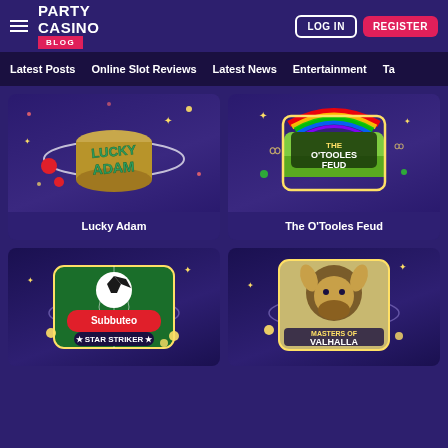[Figure (screenshot): Party Casino Blog website header with hamburger menu, Party Casino Blog logo, LOG IN and REGISTER buttons]
Latest Posts  Online Slot Reviews  Latest News  Entertainment  Ta
[Figure (screenshot): Lucky Adam slot game card with golden coin/cylinder game art on dark purple background]
Lucky Adam
[Figure (screenshot): The O'Tooles Feud slot game card with rainbow and green landscape game art on dark purple background]
The O'Tooles Feud
[Figure (screenshot): Subbuteo Star Striker slot game card with soccer/football theme on dark purple background]
[Figure (screenshot): Masters of Valhalla slot game card with Viking warrior art on dark purple background]